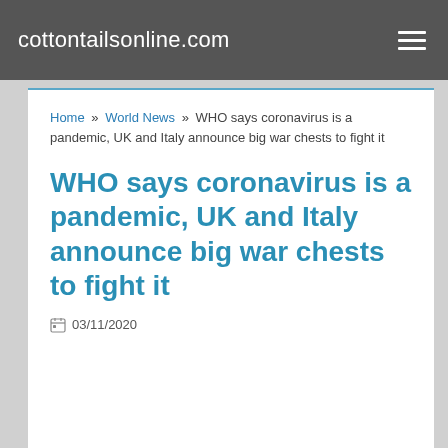cottontailsonline.com
Home » World News » WHO says coronavirus is a pandemic, UK and Italy announce big war chests to fight it
WHO says coronavirus is a pandemic, UK and Italy announce big war chests to fight it
03/11/2020